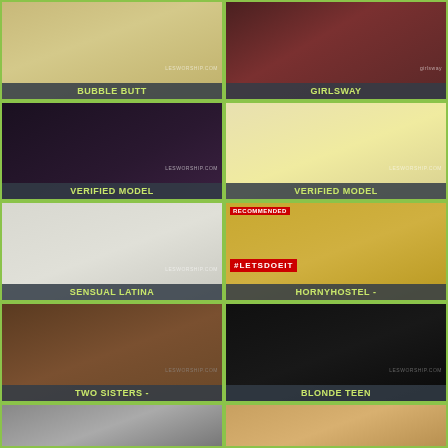[Figure (photo): Thumbnail: Bubble Butt]
BUBBLE BUTT
[Figure (photo): Thumbnail: Girlsway]
GIRLSWAY
[Figure (photo): Thumbnail: Verified Model (dark)]
VERIFIED MODEL
[Figure (photo): Thumbnail: Verified Model (handwritten note)]
VERIFIED MODEL
[Figure (photo): Thumbnail: Sensual Latina]
SENSUAL LATINA
[Figure (photo): Thumbnail: HornyHostel - Recommended badge, #LETSDOEIT]
HORNYHOSTEL -
[Figure (photo): Thumbnail: Two Sisters]
TWO SISTERS -
[Figure (photo): Thumbnail: Blonde Teen]
BLONDE TEEN
[Figure (photo): Thumbnail: Row 5 left]
[Figure (photo): Thumbnail: Row 5 right]